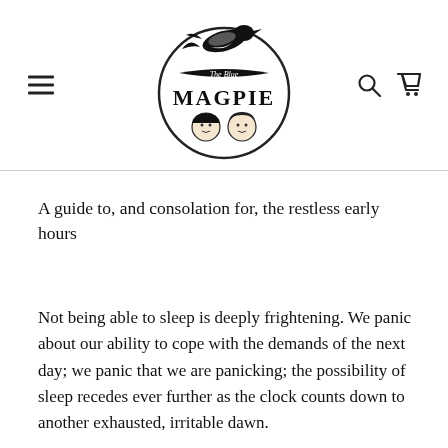The Blue Magpie — navigation header with logo, hamburger menu, search and cart icons
A guide to, and consolation for, the restless early hours
Not being able to sleep is deeply frightening. We panic about our ability to cope with the demands of the next day; we panic that we are panicking; the possibility of sleep recedes ever further as the clock counts down to another exhausted, irritable dawn.